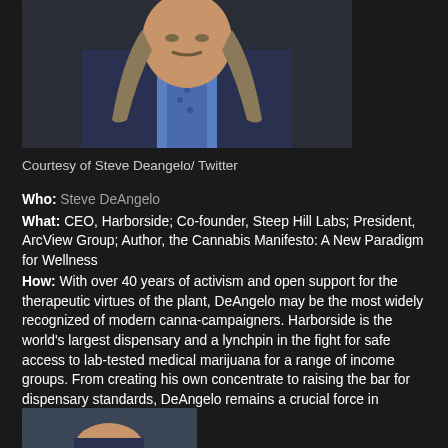[Figure (photo): Portrait photo of Steve DeAngelo, a man with long braided hair wearing a blue shirt, patterned tie, and dark blazer.]
Courtesy of Steve Deangelo/ Twitter
Who: Steve DeAngelo
What: CEO, Harborside; Co-founder, Steep Hill Labs; President, ArcView Group; Author, the Cannabis Manifesto: A New Paradigm for Wellness
How: With over 40 years of activism and open support for the therapeutic virtues of the plant, DeAngelo may be the most widely recognized of modern canna-campaigners. Harborside is the world's largest dispensary and a lynchpin in the fight for safe access to lab-tested medical marijuana for a range of income groups. From creating his own concentrate to raising the bar for dispensary standards, DeAngelo remains a crucial force in advocacy and activism.
[Figure (photo): Partial photo at bottom of page showing top of a person's head, cropped by page edge.]